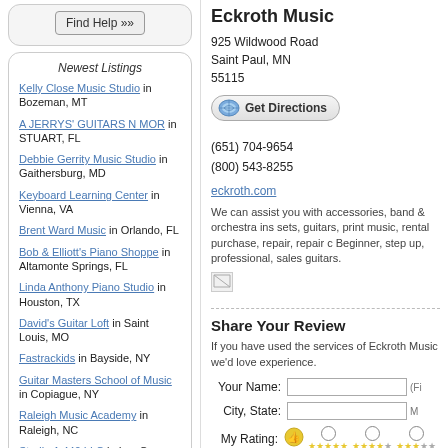[Figure (other): Find Help button area in rounded rectangle box]
Newest Listings
Kelly Close Music Studio in Bozeman, MT
A JERRYS' GUITARS N MOR in STUART, FL
Debbie Gerrity Music Studio in Gaithersburg, MD
Keyboard Learning Center in Vienna, VA
Brent Ward Music in Orlando, FL
Bob & Elliott's Piano Shoppe in Altamonte Springs, FL
Linda Anthony Piano Studio in Houston, TX
David's Guitar Loft in Saint Louis, MO
Fastrackids in Bayside, NY
Guitar Masters School of Music in Copiague, NY
Raleigh Music Academy in Raleigh, NC
Studio A 440 LLC in Las Cruces, NM
Eckroth Music
925 Wildwood Road
Saint Paul, MN
55115
(651) 704-9654
(800) 543-8255
eckroth.com
We can assist you with accessories, band & orchestra ins sets, guitars, print music, rental purchase, repair, repair c Beginner, step up, professional, sales guitars.
Share Your Review
If you have used the services of Eckroth Music we'd love experience.
Your Name: (Fi
City, State: M
My Rating: